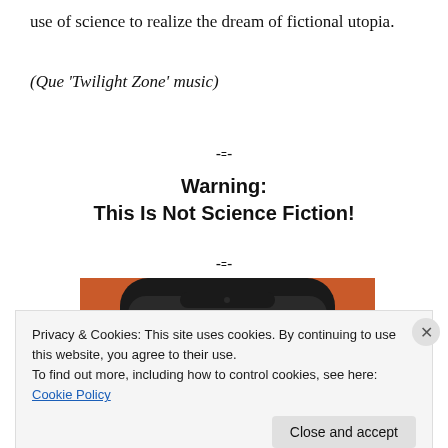use of science to realize the dream of fictional utopia.
(Que ‘Twilight Zone’ music)
-=-
Warning:
This Is Not Science Fiction!
-=-
[Figure (photo): A smartphone with DuckDuckGo logo on an orange background]
Privacy & Cookies: This site uses cookies. By continuing to use this website, you agree to their use.
To find out more, including how to control cookies, see here: Cookie Policy